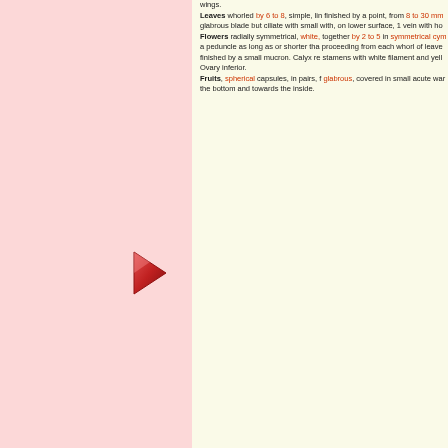wings. Leaves whorled by 6 to 8, simple, lin finished by a point, from 8 to 30 mm glabrous blade but ciliate with small with, on lower surface, 1 vein with ho Flowers radially symmetrical, white, together by 2 to 5 in symmetrical cym a peduncle as long as or shorter than proceeding from each whorl of leave finished by a small mucron. Calyx re stamens with white filament and yell Ovary inferior. Fruits, spherical capsules, in pairs, f glabrous, covered in small acute war the bottom and towards the inside.
[Figure (illustration): A red/maroon triangular play button arrow pointing right]